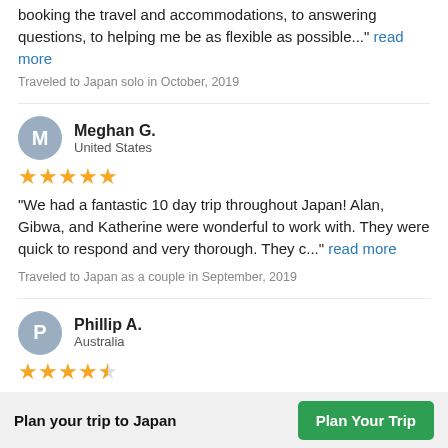booking the travel and accommodations, to answering questions, to helping me be as flexible as possible..." read more
Traveled to Japan solo in October, 2019
Meghan G. — United States — 5 stars — "We had a fantastic 10 day trip throughout Japan! Alan, Gibwa, and Katherine were wonderful to work with. They were quick to respond and very thorough. They c..." read more
Traveled to Japan as a couple in September, 2019
Phillip A. — Australia — 4.5 stars — "The trip was very well organised by Kanata. Our only
Plan your trip to Japan
Plan Your Trip